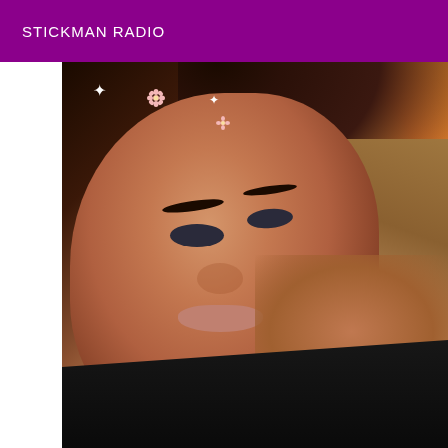STICKMAN RADIO
[Figure (photo): Close-up selfie photo of a young woman with brown hair lying down, looking at camera with a pout expression, wearing a black top. Colorful fabric visible in background top-right. Small flower decorations and sparkles overlaid on image (Snapchat filter style). Purple header bar at top with 'STICKMAN RADIO' text.]